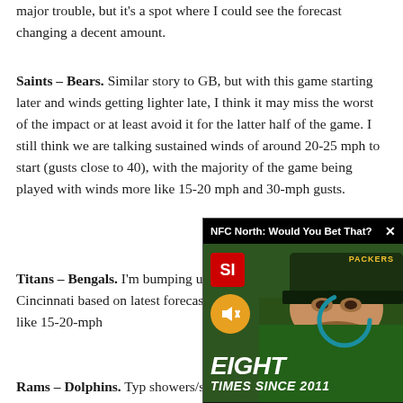major trouble, but it's a spot where I could see the forecast changing a decent amount.
Saints – Bears. Similar story to GB, but with this game starting later and winds getting lighter late, I think it may miss the worst of the impact or at least avoid it for the latter half of the game. I still think we are talking sustained winds of around 20-25 mph to start (gusts close to 40), with the majority of the game being played with winds more like 15-20 mph and 30-mph gusts.
Titans – Bengals. I'm bumping up the winds a touch in Cincinnati based on latest forecast models, so now it's looking like 15-20-mph... mph. This game isn't ne... but deep throws and ki...
Rams – Dolphins. Typ... showers/storms, but c...
[Figure (screenshot): Video overlay popup showing 'NFC North: Would You Bet That?' with a person wearing a Green Bay Packers hat and green jacket, SI logo, mute button, loading spinner, and text 'EIGHT TIMES SINCE 2011']